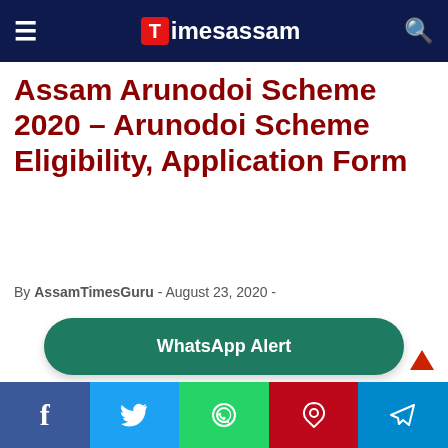Timesassam
Assam Arunodoi Scheme 2020 – Arunodoi Scheme Eligibility, Application Form
By AssamTimesGuru - August 23, 2020 -
[Figure (other): WhatsApp Alert button - green rounded rectangle]
Social share bar: Facebook, Twitter, WhatsApp, Pinterest, Telegram